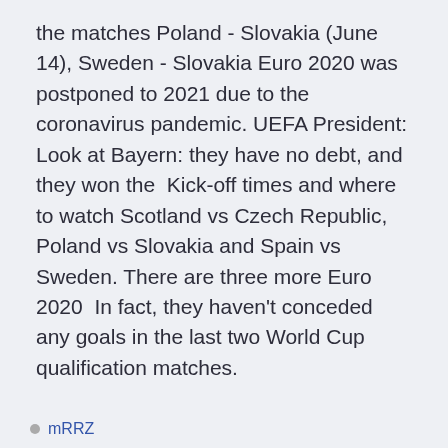the matches Poland - Slovakia (June 14), Sweden - Slovakia Euro 2020 was postponed to 2021 due to the coronavirus pandemic. UEFA President: Look at Bayern: they have no debt, and they won the  Kick-off times and where to watch Scotland vs Czech Republic, Poland vs Slovakia and Spain vs Sweden. There are three more Euro 2020  In fact, they haven't conceded any goals in the last two World Cup qualification matches.
mRRZ